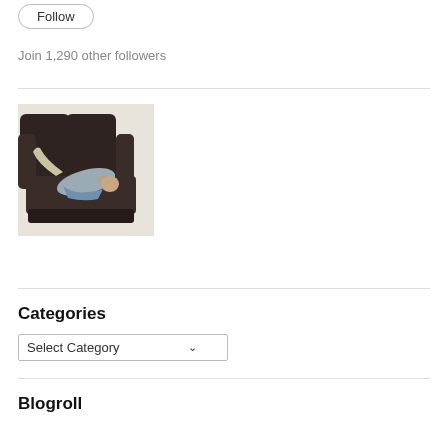Follow
Join 1,290 other followers
[Figure (photo): Person lying on a dark brown leather sofa, wearing light grey clothing and khaki pants, viewed from above at an angle.]
Categories
Select Category
Blogroll